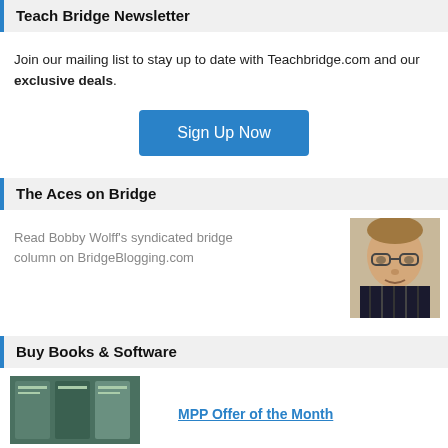Teach Bridge Newsletter
Join our mailing list to stay up to date with Teachbridge.com and our exclusive deals.
[Figure (other): Blue 'Sign Up Now' button]
The Aces on Bridge
Read Bobby Wolff's syndicated bridge column on BridgeBlogging.com
[Figure (photo): Headshot photo of Bobby Wolff, an older man with glasses wearing a dark striped shirt]
Buy Books & Software
[Figure (photo): Thumbnail image of book covers]
MPP Offer of the Month